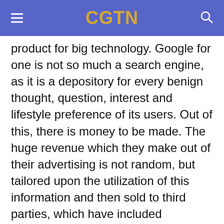CGTN
product for big technology. Google for one is not so much a search engine, as it is a depository for every benign thought, question, interest and lifestyle preference of its users. Out of this, there is money to be made. The huge revenue which they make out of their advertising is not random, but tailored upon the utilization of this information and then sold to third parties, which have included Facebook and other social media firms, or of course pushed upward to the U.S. government through its PRISM and ECHELON programs.
In this context, the news that Anomaly Six LLC is secretly infiltrating applications and